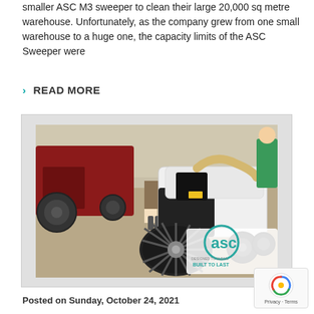smaller ASC M3 sweeper to clean their large 20,000 sq metre warehouse. Unfortunately, as the company grew from one small warehouse to a huge one, the capacity limits of the ASC Sweeper were
READ MORE
[Figure (photo): Photo of an ASC industrial sweeper machine parked on a concrete surface with a person standing nearby and a tractor in the background. The machine is white and black with large brushes. ASC logo with 'DESIGNED TO KLEAN. BUILT TO LAST' text visible in the bottom right corner.]
Posted on Sunday, October 24, 2021